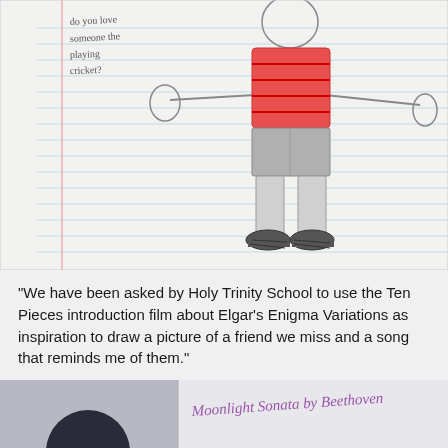[Figure (illustration): Child's pencil and crayon drawing on lined notebook paper showing a person wearing a red striped top and grey shorts/trousers with shoes. Handwritten text on the left side reads 'do you love someone the playing cricket?']
"We have been asked by Holy Trinity School to use the Ten Pieces introduction film about Elgar's Enigma Variations as inspiration to draw a picture of a friend we miss and a song that reminds me of them."
[Figure (illustration): Bottom portion of another child's drawing on paper. Handwritten text reads 'Moonlight Sonata by Beethoven'. Left side shows a dark circular shape (head) against a grey background.]